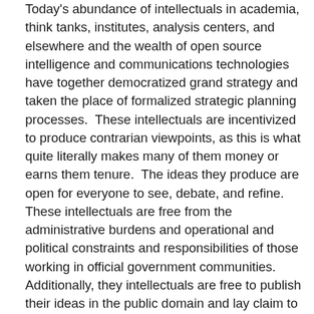Today's abundance of intellectuals in academia, think tanks, institutes, analysis centers, and elsewhere and the wealth of open source intelligence and communications technologies have together democratized grand strategy and taken the place of formalized strategic planning processes.  These intellectuals are incentivized to produce contrarian viewpoints, as this is what quite literally makes many of them money or earns them tenure.  The ideas they produce are open for everyone to see, debate, and refine.  These intellectuals are free from the administrative burdens and operational and political constraints and responsibilities of those working in official government communities.  Additionally, they intellectuals are free to publish their ideas in the public domain and lay claim to an idea and are thus less susceptible to hording information in pursuit of bureaucratic one-upmanship.  As the number of these intellectuals and their financial support continue to profligate, so do the number of ideas that enter the grand strategy debate.  Equally importantly, the transparency of the public domain negates many of the criticisms that